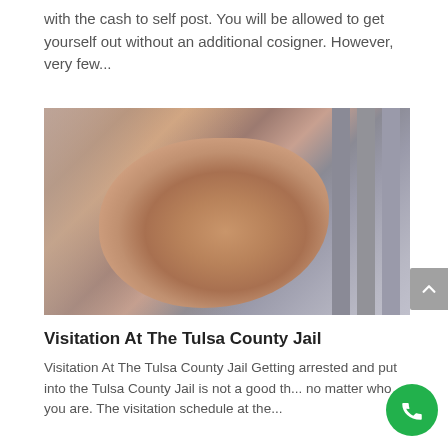with the cash to self post. You will be allowed to get yourself out without an additional cosigner. However, very few...
[Figure (photo): Close-up photograph of a person's hands gripping jail cell bars, with blurred corridor in background and metal bars visible on right side.]
Visitation At The Tulsa County Jail
Visitation At The Tulsa County Jail Getting arrested and put into the Tulsa County Jail is not a good th... no matter who you are. The visitation schedule at the...